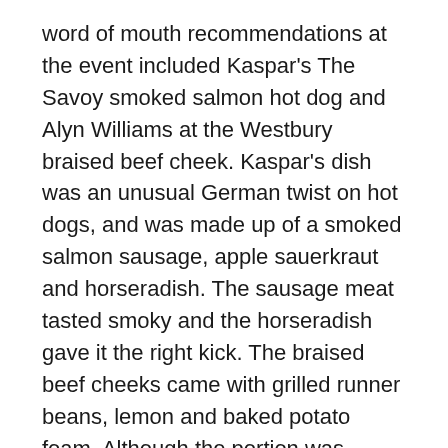word of mouth recommendations at the event included Kaspar's The Savoy smoked salmon hot dog and Alyn Williams at the Westbury braised beef cheek. Kaspar's dish was an unusual German twist on hot dogs, and was made up of a smoked salmon sausage, apple sauerkraut and horseradish. The sausage meat tasted smoky and the horseradish gave it the right kick. The braised beef cheeks came with grilled runner beans, lemon and baked potato foam. Although the portion was small, the beef was succulent and the potato foam was a welcome light accompaniment to the rich food.
Another aspect that worked well is that it makes the restaurants and chefs accessible. Unless you were a full time food critic, it would be impossible to go to all these eateries and sample their food and it's a great way to familiarise yourself with the best restaurants in the capital